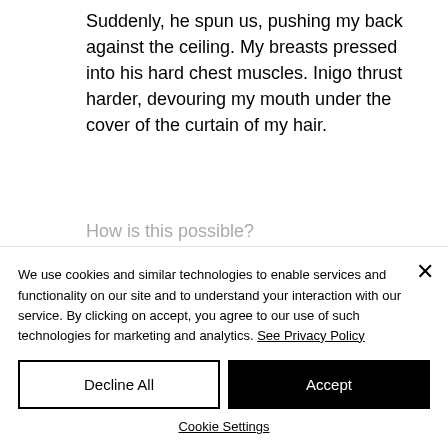Suddenly, he spun us, pushing my back against the ceiling. My breasts pressed into his hard chest muscles. Inigo thrust harder, devouring my mouth under the cover of the curtain of my hair.
How is this possible?
We use cookies and similar technologies to enable services and functionality on our site and to understand your interaction with our service. By clicking on accept, you agree to our use of such technologies for marketing and analytics. See Privacy Policy